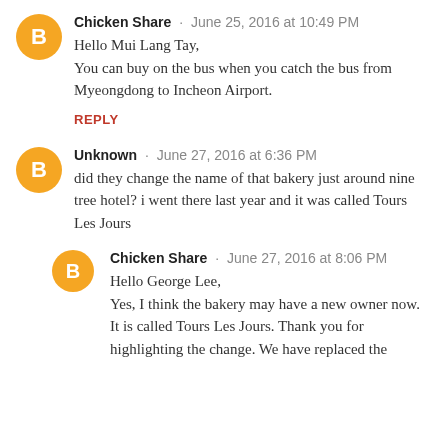Chicken Share · June 25, 2016 at 10:49 PM
Hello Mui Lang Tay,
You can buy on the bus when you catch the bus from Myeongdong to Incheon Airport.
REPLY
Unknown · June 27, 2016 at 6:36 PM
did they change the name of that bakery just around nine tree hotel? i went there last year and it was called Tours Les Jours
Chicken Share · June 27, 2016 at 8:06 PM
Hello George Lee,
Yes, I think the bakery may have a new owner now. It is called Tours Les Jours. Thank you for highlighting the change. We have replaced the